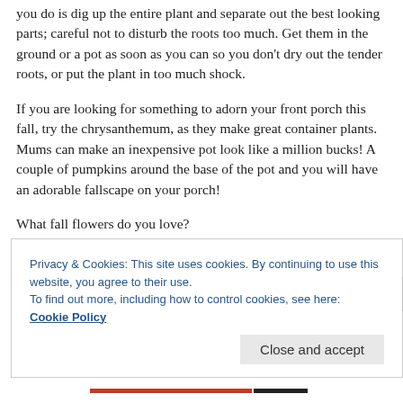you do is dig up the entire plant and separate out the best looking parts; careful not to disturb the roots too much. Get them in the ground or a pot as soon as you can so you don't dry out the tender roots, or put the plant in too much shock.
If you are looking for something to adorn your front porch this fall, try the chrysanthemum, as they make great container plants. Mums can make an inexpensive pot look like a million bucks! A couple of pumpkins around the base of the pot and you will have an adorable fallscape on your porch!
What fall flowers do you love?
Privacy & Cookies: This site uses cookies. By continuing to use this website, you agree to their use.
To find out more, including how to control cookies, see here:
Cookie Policy
Close and accept